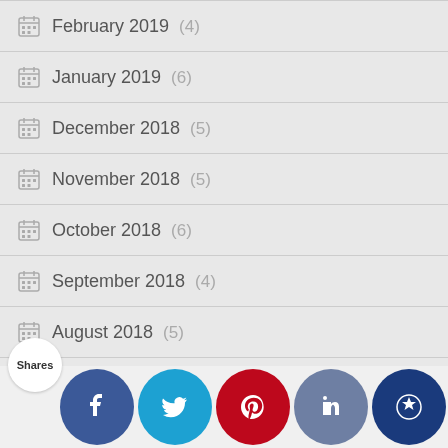February 2019 (4)
January 2019 (6)
December 2018 (5)
November 2018 (5)
October 2018 (6)
September 2018 (4)
August 2018 (5)
July 2018 (4)
June 2018
May 2018